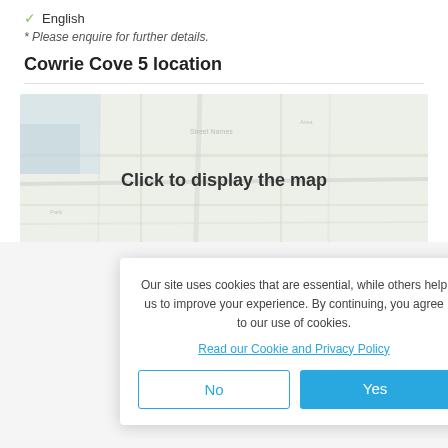✓ English
* Please enquire for further details.
Cowrie Cove 5 location
[Figure (map): Blurred map with 'Click to display the map' overlay text]
Cowrie Co... (King Sha... *Distance...
Our site uses cookies that are essential, while others help us to improve your experience. By continuing, you agree to our use of cookies.
Read our Cookie and Privacy Policy
[Figure (illustration): Footer illustration with colorful travel/adventure themed icons including hot air balloon, people, and landscape elements]